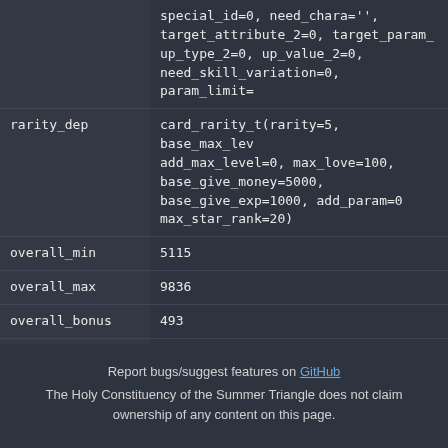| field | value |
| --- | --- |
|  | special_id=0, need_chara='', target_attribute_2=0, target_param_ up_type_2=0, up_value_2=0, need_skill_variation=0, param_limit= |
| rarity_dep | card_rarity_t(rarity=5, base_max_lev add_max_level=0, max_love=100, base_give_money=5000, base_give_exp=1000, add_param=0 max_star_rank=20) |
| overall_min | 5115 |
| overall_max | 9836 |
| overall_bonus | 493 |
| valist | [] |
| best_stat | 6 |
Report bugs/suggest features on GitHub
The Holy Constituency of the Summer Triangle does not claim ownership of any content on this page.